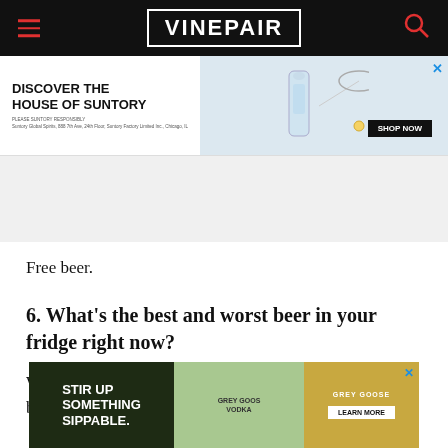VinePair
[Figure (other): Advertisement banner: DISCOVER THE HOUSE OF SUNTORY with bottle and martini glass, SHOP NOW button]
Free beer.
6. What's the best and worst beer in your fridge right now?
Worst... because... there.
[Figure (other): Grey Goose advertisement: STIR UP SOMETHING SIPPABLE with cocktail image, LEARN MORE button]